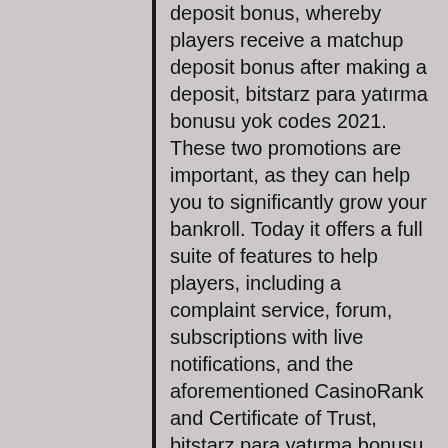deposit bonus, whereby players receive a matchup deposit bonus after making a deposit, bitstarz para yatırma bonusu yok codes 2021. These two promotions are important, as they can help you to significantly grow your bankroll. Today it offers a full suite of features to help players, including a complaint service, forum, subscriptions with live notifications, and the aforementioned CasinoRank and Certificate of Trust, bitstarz para yatırma bonusu yok codes for existing users 2021. AskGamblers representatives have stated that they fully expect the bitcoin gaming market to continue to grow. Without this national and institutional control, this means that Bitcoin or any other cryptocurrency works exactly the same for all Bitcoin gambling sites, regardless of which country you reside in. Bitcoin is pseudonymous, so your personal data remains hidden throughout a transaction, bitstarz para yatırma bonusu yok